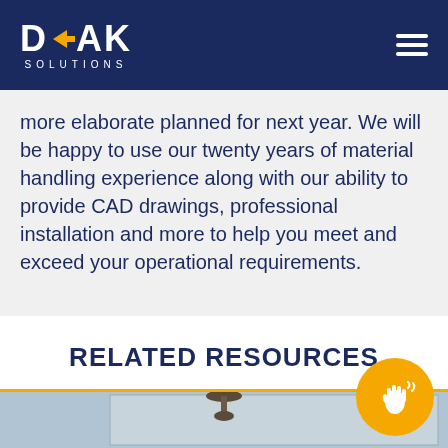DAK Solutions
more elaborate planned for next year. We will be happy to use our twenty years of material handling experience along with our ability to provide CAD drawings, professional installation and more to help you meet and exceed your operational requirements.
RELATED RESOURCES
[Figure (photo): Partial view of a ceiling-mounted industrial component or fastener, photograph taken from below looking up]
[Figure (illustration): Orange circular button with a waving hand icon indicating a contact or chat feature]